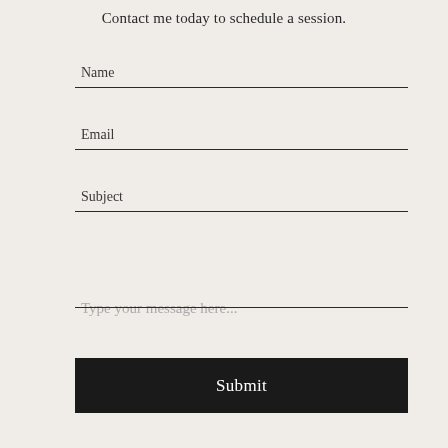Contact me today to schedule a session.
Name
Email
Subject
Type your message here...
Submit